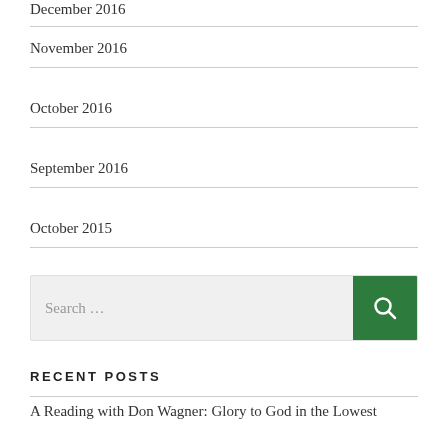December 2016
November 2016
October 2016
September 2016
October 2015
[Figure (other): Search box with text 'Search …' and a green search button with magnifying glass icon]
RECENT POSTS
A Reading with Don Wagner: Glory to God in the Lowest
The line separating Israel from Palestine has been erased. What comes next?